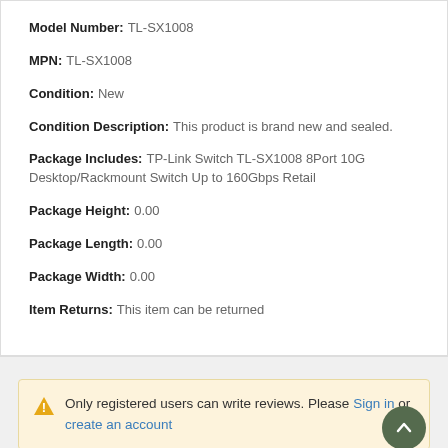Model Number: TL-SX1008
MPN: TL-SX1008
Condition: New
Condition Description: This product is brand new and sealed.
Package Includes: TP-Link Switch TL-SX1008 8Port 10G Desktop/Rackmount Switch Up to 160Gbps Retail
Package Height: 0.00
Package Length: 0.00
Package Width: 0.00
Item Returns: This item can be returned
Only registered users can write reviews. Please Sign in or create an account